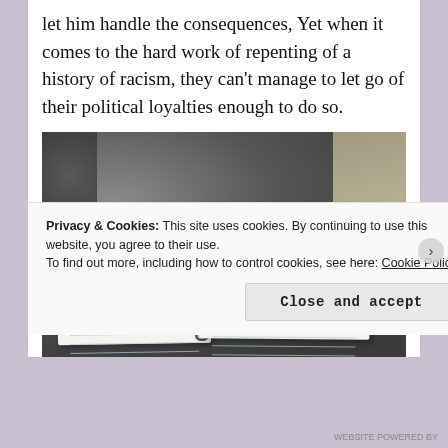let him handle the consequences, Yet when it comes to the hard work of repenting of a history of racism, they can't manage to let go of their political loyalties enough to do so.
[Figure (photo): Photo of an open spiral-bound notebook with handwritten notes and highlights (blue and yellow), placed on a dark patterned fabric surface.]
Privacy & Cookies: This site uses cookies. By continuing to use this website, you agree to their use.
To find out more, including how to control cookies, see here: Cookie Policy
Close and accept
WEBSITE POWERED BY